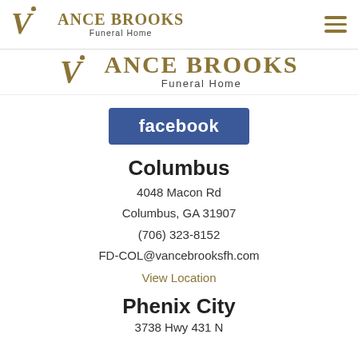Vance Brooks Funeral Home — navigation header
[Figure (logo): Vance Brooks Funeral Home secondary logo with gold script and funeral home text]
[Figure (logo): Facebook button — blue rectangle with white 'facebook' text]
Columbus
4048 Macon Rd
Columbus, GA 31907
(706) 323-8152
FD-COL@vancebrooksfh.com
View Location
Phenix City
3738 Hwy 431 N